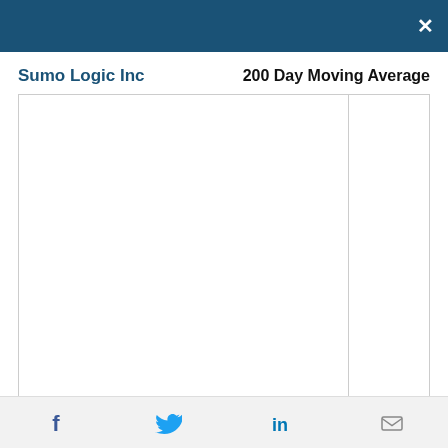×
Sumo Logic Inc
200 Day Moving Average
[Figure (continuous-plot): Empty chart area for 200 Day Moving Average of Sumo Logic Inc stock, with a main plot area and a side panel, both blank/loading]
Social sharing icons: Facebook, Twitter, LinkedIn, Email